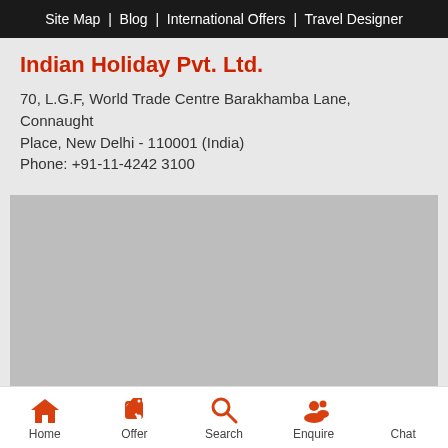Site Map | Blog | International Offers | Travel Designer
Indian Holiday Pvt. Ltd.
70, L.G.F, World Trade Centre Barakhamba Lane, Connaught Place, New Delhi - 110001 (India)
Phone: +91-11-4242 3100
[Figure (map): Map placeholder (grey rectangle)]
Home | Offer | Search | Enquire | Chat